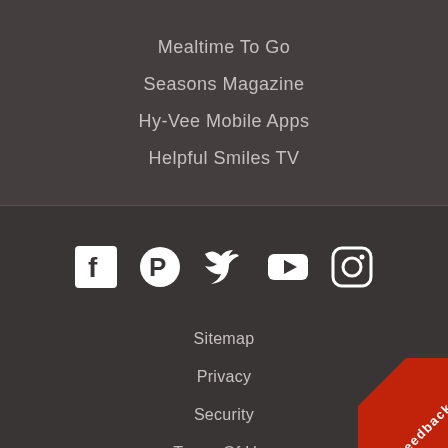Mealtime To Go
Seasons Magazine
Hy-Vee Mobile Apps
Helpful Smiles TV
[Figure (other): Social media icons row: Facebook, Pinterest, Twitter, YouTube, Instagram — white icons on dark background]
Sitemap
Privacy
Security
Terms Of Use